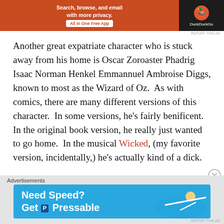[Figure (other): DuckDuckGo advertisement banner: orange background with text 'Search, browse, and email with more privacy. All in One Free App' and DuckDuckGo logo on dark right panel]
Another great expatriate character who is stuck away from his home is Oscar Zoroaster Phadrig Isaac Norman Henkel Emmannuel Ambroise Diggs, known to most as the Wizard of Oz.  As with comics, there are many different versions of this character.  In some versions, he's fairly benificent.  In the original book version, he really just wanted to go home.  In the musical Wicked, (my favorite version, incidentally,) he's actually kind of a dick.
[Figure (other): Pressable advertisement banner on blue background: 'Need Speed? Get Pressable' with figure of person flying/running]